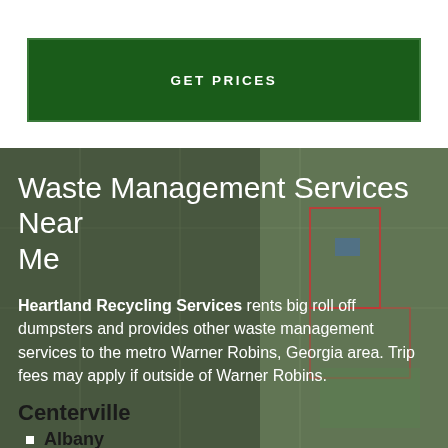GET PRICES
Waste Management Services Near Me
Heartland Recycling Services rents big roll off dumpsters and provides other waste management services to the metro Warner Robins, Georgia area. Trip fees may apply if outside of Warner Robins.
Centerville
Albany